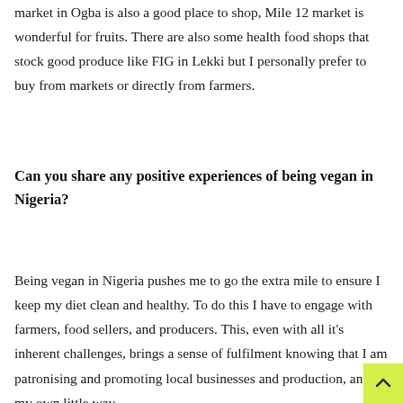market in Ogba is also a good place to shop, Mile 12 market is wonderful for fruits. There are also some health food shops that stock good produce like FIG in Lekki but I personally prefer to buy from markets or directly from farmers.
Can you share any positive experiences of being vegan in Nigeria?
Being vegan in Nigeria pushes me to go the extra mile to ensure I keep my diet clean and healthy. To do this I have to engage with farmers, food sellers, and producers. This, even with all it's inherent challenges, brings a sense of fulfilment knowing that I am patronising and promoting local businesses and production, and in my own little way